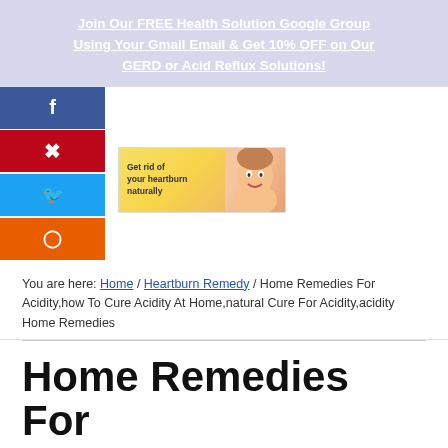Join Our FREE Health Solution Google Group Using Your Gmail Email & Get 10% OFF on Our GERD or Acid Reflux Solutions!
[Figure (screenshot): Social media share buttons: Facebook (blue), Pinterest (red), Twitter (light blue), Reddit (orange)]
[Figure (infographic): Ad banner: 'Get rid of your heartburn naturally' with woman smiling, yellow gradient background]
You are here: Home / Heartburn Remedy / Home Remedies For Acidity,how To Cure Acidity At Home,natural Cure For Acidity,acidity Home Remedies
Home Remedies For